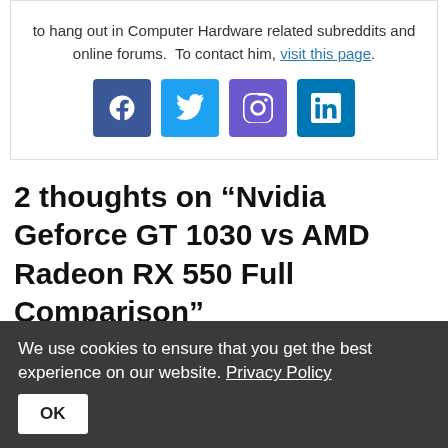to hang out in Computer Hardware related subreddits and online forums. To contact him, visit this page.
[Figure (infographic): Social media icons: Facebook (blue), Twitter (light blue), Instagram (purple), LinkedIn (dark blue)]
2 thoughts on “Nvidia Geforce GT 1030 vs AMD Radeon RX 550 Full Comparison”
Pierré
We use cookies to ensure that you get the best experience on our website. Privacy Policy OK